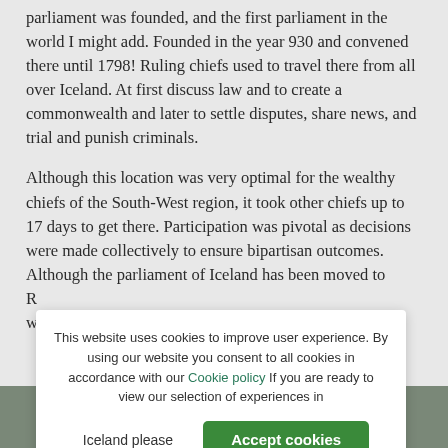parliament was founded, and the first parliament in the world I might add. Founded in the year 930 and convened there until 1798! Ruling chiefs used to travel there from all over Iceland. At first discuss law and to create a commonwealth and later to settle disputes, share news, and trial and punish criminals.
Although this location was very optimal for the wealthy chiefs of the South-West region, it took other chiefs up to 17 days to get there. Participation was pivotal as decisions were made collectively to ensure bipartisan outcomes. Although the parliament of Iceland has been moved to R... w...
This website uses cookies to improve user experience. By using our website you consent to all cookies in accordance with our Cookie policy If you are ready to view our selection of experiences in
[Figure (photo): Partial photo of rocky Icelandic landscape with mountains in background, visible at bottom of page]